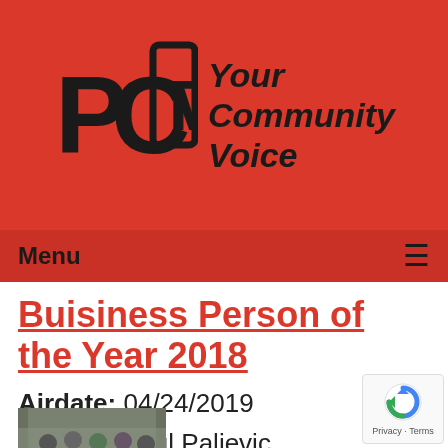[Figure (logo): PCTV logo with stylized PC and TV letters in black on red background, with tagline 'Your Community Voice' in bold italic]
Menu ≡
Buisiness Person of the Year 2018
Airdate: 04/24/2019
Guests: Paul Paljevic
Watched: 14 times
[Figure (photo): Small thumbnail photo showing a group of people at what appears to be a ribbon cutting ceremony]